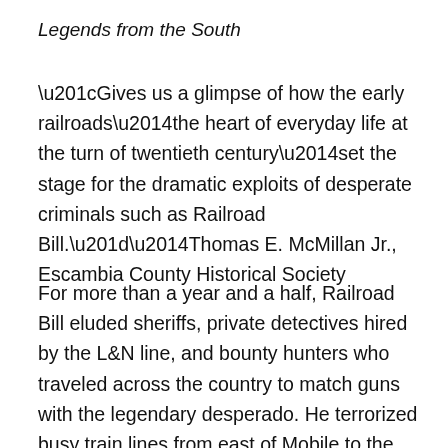Legends from the South
“Gives us a glimpse of how the early railroads—the heart of everyday life at the turn of twentieth century—set the stage for the dramatic exploits of desperate criminals such as Railroad Bill.”—Thomas E. McMillan Jr., Escambia County Historical Society
For more than a year and a half, Railroad Bill eluded sheriffs, private detectives hired by the L&N line, and bounty hunters who traveled across the country to match guns with the legendary desperado. He terrorized busy train lines from east of Mobile to the Florida Panhandle, but as